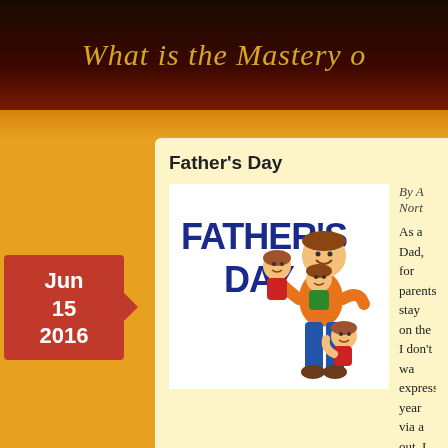What is the Mastery o
Jun
15
2016
Father's Day
[Figure (illustration): Father's Day clipart illustration showing a cartoon father being hugged by three children, with bold blue text reading FATHER'S DAY]
By A Nort
As a Dad, for parents stay on the I don't wa expressing year via a out. I wou expression
all year round.
From A Kid's Perspective
By Bev's Daughter